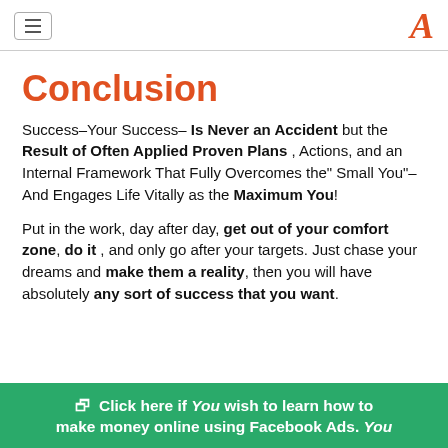[hamburger menu] [A logo]
Conclusion
Success–Your Success– Is Never an Accident but the Result of Often Applied Proven Plans , Actions, and an Internal Framework That Fully Overcomes the" Small You"–And Engages Life Vitally as the Maximum You!
Put in the work, day after day, get out of your comfort zone, do it , and only go after your targets. Just chase your dreams and make them a reality, then you will have absolutely any sort of success that you want.
Click here if You wish to learn how to make money online using Facebook Ads. You